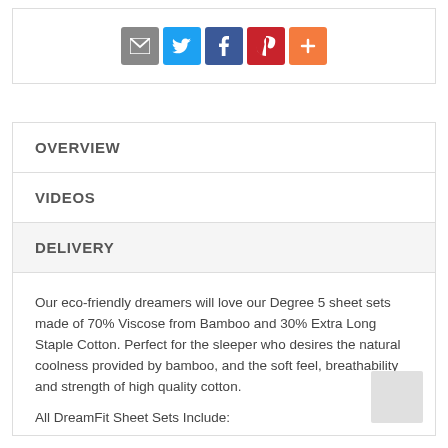[Figure (other): Social sharing icon buttons: email (grey), Twitter (blue), Facebook (dark blue), Pinterest (red), More/Plus (orange)]
OVERVIEW
VIDEOS
DELIVERY
Our eco-friendly dreamers will love our Degree 5 sheet sets made of 70% Viscose from Bamboo and 30% Extra Long Staple Cotton. Perfect for the sleeper who desires the natural coolness provided by bamboo, and the soft feel, breathability and strength of high quality cotton.
All DreamFit Sheet Sets Include: